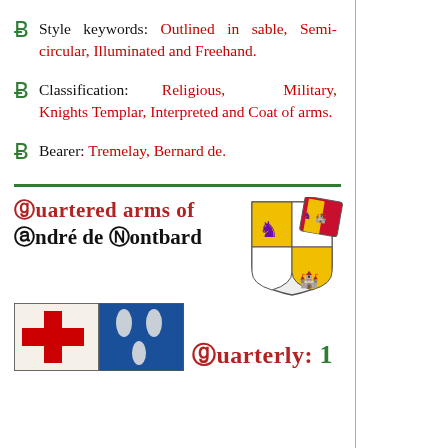Style keywords: Outlined in sable, Semi-circular, Illuminated and Freehand.
Classification: Religious, Military, Knights Templar, Interpreted and Coat of arms.
Bearer: Tremelay, Bernard de.
Quartered arms of André de Montbard
[Figure (illustration): Coat of arms shield quartered with red cross and blue/silver sections, with a smaller shield labeled 'Castellano' overlaid at top right showing a purple lion and castle design]
Quarterly: 1